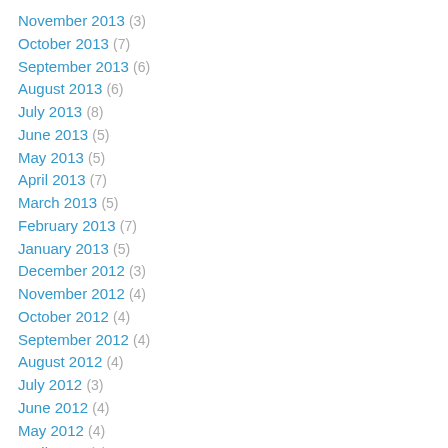November 2013 (3)
October 2013 (7)
September 2013 (6)
August 2013 (6)
July 2013 (8)
June 2013 (5)
May 2013 (5)
April 2013 (7)
March 2013 (5)
February 2013 (7)
January 2013 (5)
December 2012 (3)
November 2012 (4)
October 2012 (4)
September 2012 (4)
August 2012 (4)
July 2012 (3)
June 2012 (4)
May 2012 (4)
April 2012 (4)